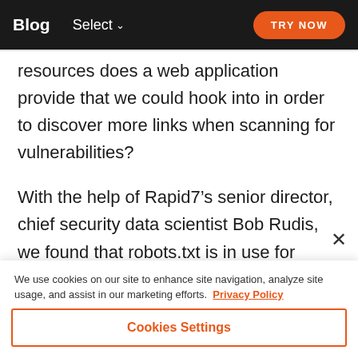Blog  Select  TRY NOW
resources does a web application provide that we could hook into in order to discover more links when scanning for vulnerabilities?
With the help of Rapid7’s senior director, chief security data scientist Bob Rudis, we found that robots.txt is in use for about 40% of the Alexa top 1 million sites, and sitemap.xml is in use for about
We use cookies on our site to enhance site navigation, analyze site usage, and assist in our marketing efforts.  Privacy Policy
Cookies Settings